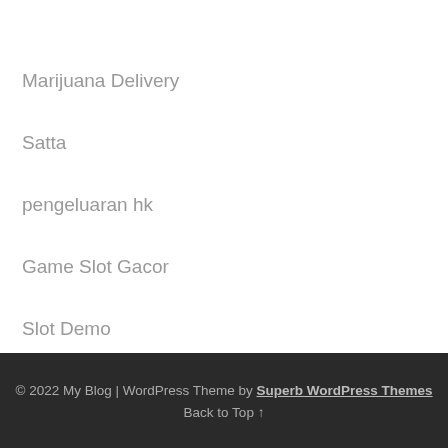Marijuana Delivery
Satta
pengeluaran hk
Game Slot Gacor
Slot Demo
© 2022 My Blog | WordPress Theme by Superb WordPress Themes
Back to Top ↑